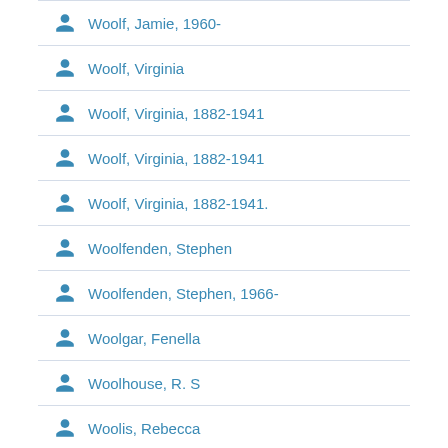Woolf, Jamie, 1960-
Woolf, Virginia
Woolf, Virginia, 1882-1941
Woolf, Virginia, 1882-1941
Woolf, Virginia, 1882-1941.
Woolfenden, Stephen
Woolfenden, Stephen, 1966-
Woolgar, Fenella
Woolhouse, R. S
Woolis, Rebecca
Woollard, Elli